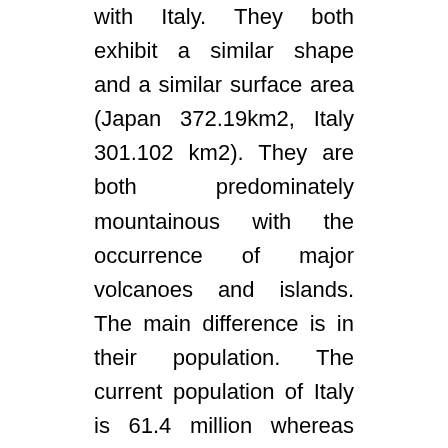with Italy. They both exhibit a similar shape and a similar surface area (Japan 372.19km2, Italy 301.102 km2). They are both predominately mountainous with the occurrence of major volcanoes and islands. The main difference is in their population. The current population of Italy is 61.4 million whereas Japan's is 125.6 million, double that of Italy and consequently almost double the population density.
Both nations have essentially natural geographical boundaries. This was important in fostering the identification of a national culture and helped sustain distinctive regional cultures in both nations. Although, geographic isolation